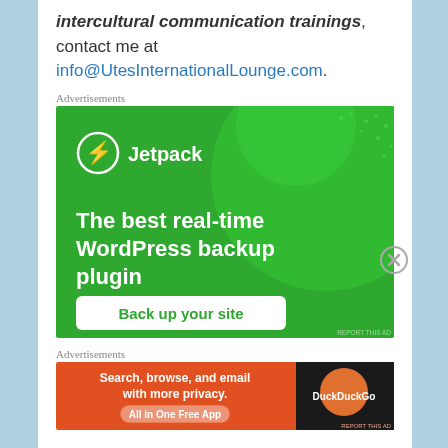intercultural communication trainings, contact me at info@UtesInternationalLounge.com.
Advertisements
[Figure (other): Jetpack advertisement: The best real-time WordPress backup plugin. Back up your site.]
Advertisements
[Figure (other): DuckDuckGo advertisement: Search, browse, and email with more privacy. All in One Free App.]